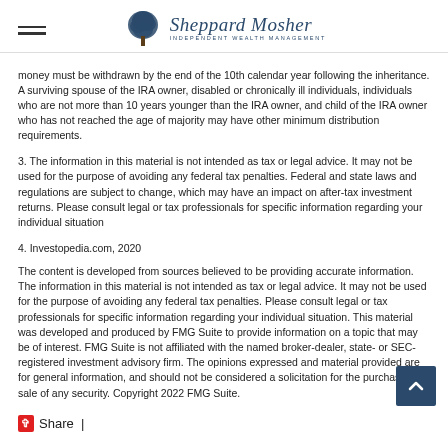Sheppard Mosher Independent Wealth Management
money must be withdrawn by the end of the 10th calendar year following the inheritance. A surviving spouse of the IRA owner, disabled or chronically ill individuals, individuals who are not more than 10 years younger than the IRA owner, and child of the IRA owner who has not reached the age of majority may have other minimum distribution requirements.
3. The information in this material is not intended as tax or legal advice. It may not be used for the purpose of avoiding any federal tax penalties. Federal and state laws and regulations are subject to change, which may have an impact on after-tax investment returns. Please consult legal or tax professionals for specific information regarding your individual situation
4. Investopedia.com, 2020
The content is developed from sources believed to be providing accurate information. The information in this material is not intended as tax or legal advice. It may not be used for the purpose of avoiding any federal tax penalties. Please consult legal or tax professionals for specific information regarding your individual situation. This material was developed and produced by FMG Suite to provide information on a topic that may be of interest. FMG Suite is not affiliated with the named broker-dealer, state- or SEC-registered investment advisory firm. The opinions expressed and material provided are for general information, and should not be considered a solicitation for the purchase or sale of any security. Copyright 2022 FMG Suite.
Share |